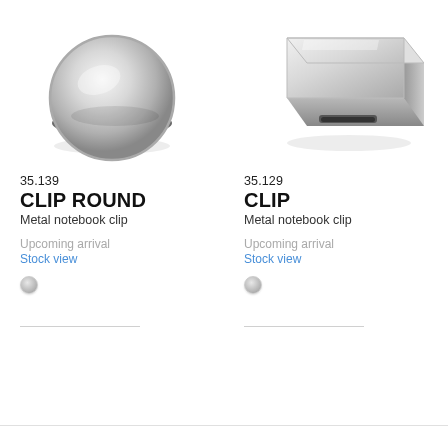[Figure (photo): Round silver metal notebook clip (CLIP ROUND), viewed from above at slight angle, shiny chrome finish]
[Figure (photo): Rectangular silver metal notebook clip (CLIP), viewed from above at slight angle, shiny chrome finish with slot opening]
35.139
CLIP ROUND
Metal notebook clip
Upcoming arrival
Stock view
35.129
CLIP
Metal notebook clip
Upcoming arrival
Stock view